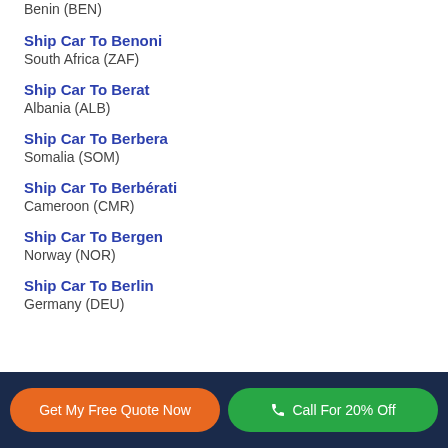Benin (BEN)
Ship Car To Benoni
South Africa (ZAF)
Ship Car To Berat
Albania (ALB)
Ship Car To Berbera
Somalia (SOM)
Ship Car To Berbérati
Cameroon (CMR)
Ship Car To Bergen
Norway (NOR)
Ship Car To Berlin
Germany (DEU)
Get My Free Quote Now   Call For 20% Off